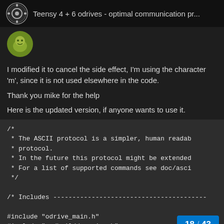Teensy 4 + 6 odrives - optimal communication pr...
[Figure (photo): User avatar thumbnail - yellow/green avatar image]
I modified it to cancel the side effect, I'm using the character 'm', since it is not used elsewhere in the code.

Thank you mike for the help

Here is the updated version, if anyone wants to use it.
/*
 * The ASCII protocol is a simpler, human readab
 * protocol.
 * In the future this protocol might be extended
 * For a list of supported commands see doc/asci
 */

/* Includes -------------------------------------------

#include "odrive_main.h"
#include "../build/version.h"
18 / 43